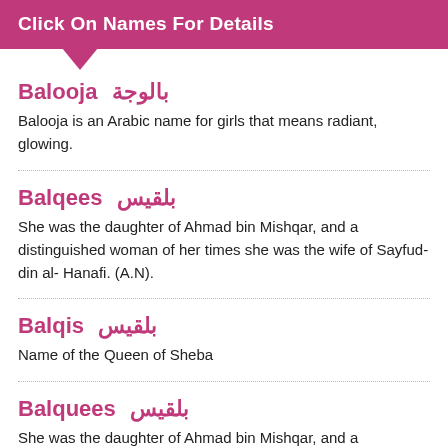Click On Names For Details
Balooja  بالوجة
Balooja is an Arabic name for girls that means radiant, glowing.
Balqees  بلقيس
She was the daughter of Ahmad bin Mishqar, and a distinguished woman of her times she was the wife of Sayfud-din al- Hanafi. (A.N).
Balqis  بلقيس
Name of the Queen of Sheba
Balquees  بلقيس
She was the daughter of Ahmad bin Mishqar, and a